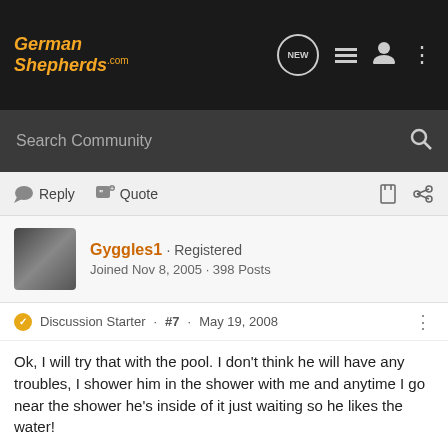GermanShepherds.com
Search Community
Reply  Quote
Gyggles1 · Registered
Joined Nov 8, 2005 · 398 Posts
Discussion Starter · #7 · May 19, 2008
Ok, I will try that with the pool. I don't think he will have any troubles, I shower him in the shower with me and anytime I go near the shower he's inside of it just waiting so he likes the water!
Yea I will have to let youk now when the pool is ready to go